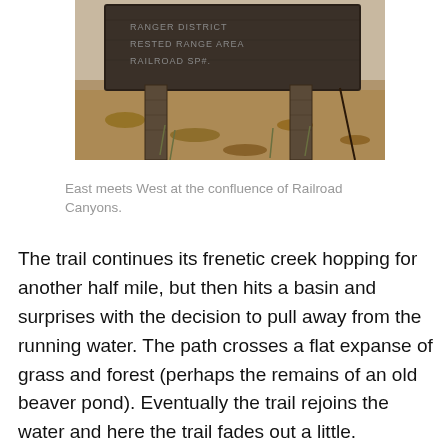[Figure (photo): A weathered wooden trail sign mounted on wooden posts, with text partially visible including 'RAILROAD SP#'. Dry autumn leaves and sparse vegetation are visible on the ground behind the sign.]
East meets West at the confluence of Railroad Canyons.
The trail continues its frenetic creek hopping for another half mile, but then hits a basin and surprises with the decision to pull away from the running water. The path crosses a flat expanse of grass and forest (perhaps the remains of an old beaver pond). Eventually the trail rejoins the water and here the trail fades out a little. Continue probing upstream and watch for hints of trail on the north bank (on your left going uphill). At 2.1 miles from